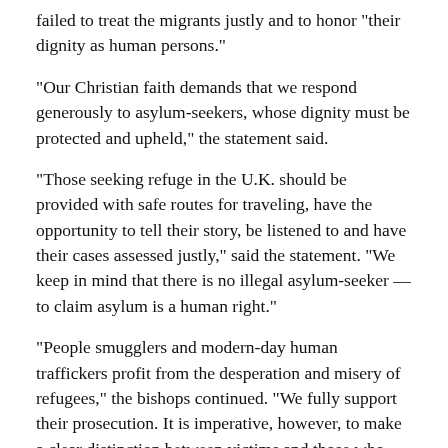failed to treat the migrants justly and to honor "their dignity as human persons."
"Our Christian faith demands that we respond generously to asylum-seekers, whose dignity must be protected and upheld," the statement said.
"Those seeking refuge in the U.K. should be provided with safe routes for traveling, have the opportunity to tell their story, be listened to and have their cases assessed justly," said the statement. "We keep in mind that there is no illegal asylum-seeker — to claim asylum is a human right."
"People smugglers and modern-day human traffickers profit from the desperation and misery of refugees," the bishops continued. "We fully support their prosecution. It is imperative, however, to make a clear distinction between victims and those who exploit them. Crime is defeated by confronting the perpetrators, not by punishing the victims."
Speaking to journalists in an online news conference May 9, Cardinal Vincent Nichols of Westminster said the statement was accepted unanimously by the bishops at their plenary assembly in Cardiff, Wales, May 2-6.
He said the plan, introduced through the Nationality and